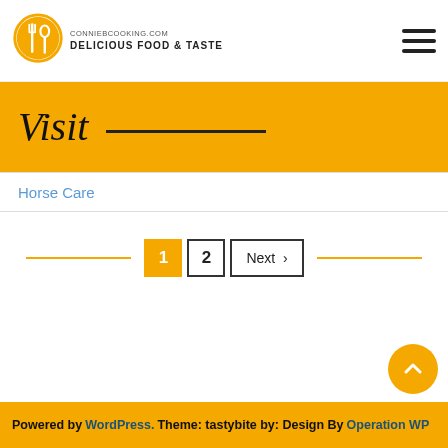[Figure (logo): Connie cooking website logo with fork and spoon icon, site URL conniebcooking.com, tagline DELICIOUS FOOD & TASTE]
[Figure (other): Hamburger menu icon (three horizontal lines)]
Visit
Horse Care
Pagination: 1 (active), 2, Next >
Powered by WordPress. Theme: tastybite by: Design By Operation WP